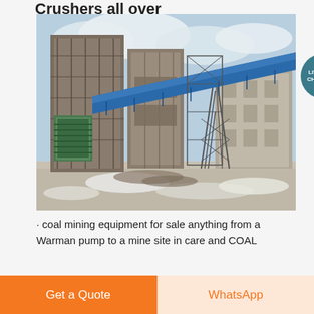Crushers all over
[Figure (photo): Industrial mining/crushing facility with large steel structures, blue conveyor belt running diagonally, green dust collector unit, and snow/debris on the ground. Cloudy sky in background.]
· coal mining equipment for sale anything from a Warman pump to a mine site in care and COAL
Section title (partially visible)
Get a Quote
WhatsApp